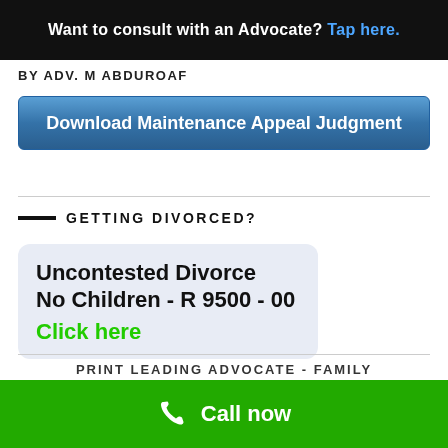Want to consult with an Advocate? Tap here.
BY ADV. M ABDUROAF
[Figure (screenshot): Blue gradient button labeled 'Download Maintenance Appeal Judgment']
GETTING DIVORCED?
[Figure (infographic): Light blue rounded box with text: Uncontested Divorce / No Children - R 9500 - 00 / Click here (in green)]
PRINT LEADING ADVOCATE - FAMILY
Call now